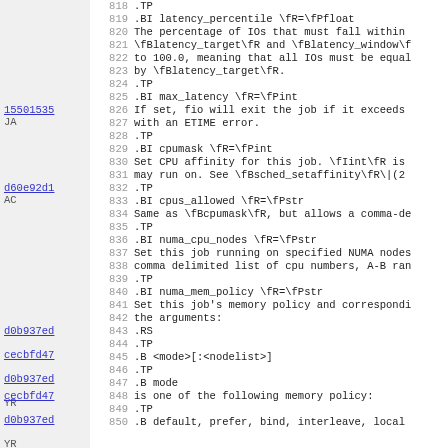Source code listing with annotations, lines 818-850. Content includes fio man page source covering latency_percentile, max_latency, cpumask, cpus_allowed, numa_cpu_nodes, numa_mem_policy parameters with troff markup.